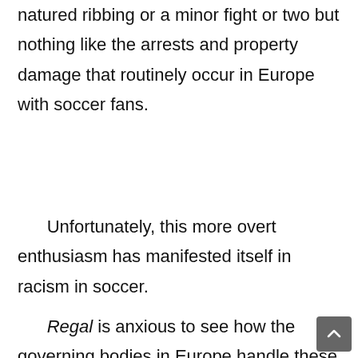natured ribbing or a minor fight or two but nothing like the arrests and property damage that routinely occur in Europe with soccer fans.
Unfortunately, this more overt enthusiasm has manifested itself in racism in soccer.
Regal is anxious to see how the governing bodies in Europe handle these problems at both the Euro Championships and London Summer Olympics. The world will be watching